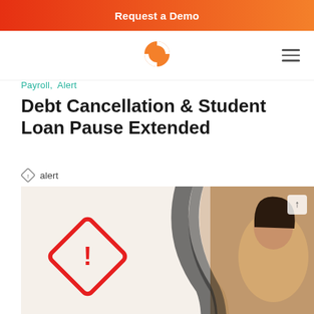Request a Demo
[Figure (logo): Orange and white circular life-preserver / compass logo]
Payroll,  Alert
Debt Cancellation & Student Loan Pause Extended
alert
[Figure (photo): Compliance Alert banner image with red diamond warning icon, text 'Compliance Alert', a woman smiling in the background, and a 'Request a Demo' dark button overlay]